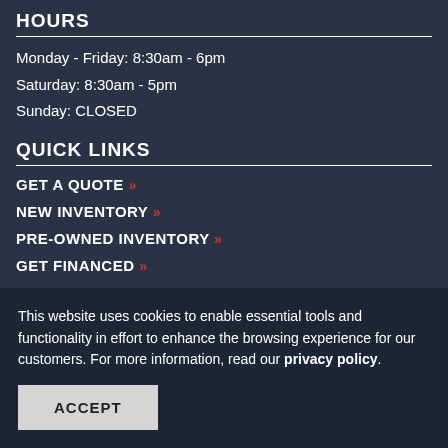HOURS
Monday - Friday: 8:30am - 6pm
Saturday: 8:30am - 5pm
Sunday: CLOSED
QUICK LINKS
GET A QUOTE »
NEW INVENTORY »
PRE-OWNED INVENTORY »
GET FINANCED »
This website uses cookies to enable essential tools and functionality in effort to enhance the browsing experience for our customers. For more information, read our privacy policy.
ACCEPT